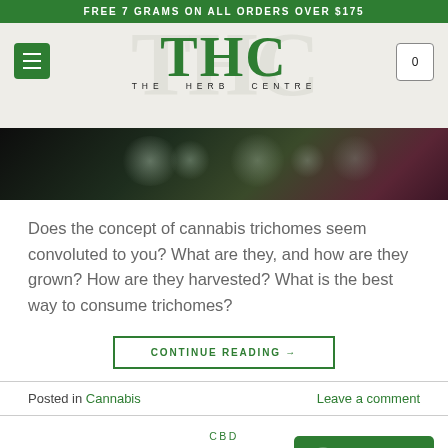FREE 7 GRAMS ON ALL ORDERS OVER $175
[Figure (logo): The Herb Centre (THC) logo with green serif THC letters and menu/cart buttons]
[Figure (photo): Close-up macro photo of cannabis trichomes — dark background with glistening resin droplets]
Does the concept of cannabis trichomes seem convoluted to you? What are they, and how are they grown? How are they harvested? What is the best way to consume trichomes?
CONTINUE READING →
Posted in Cannabis    Leave a comment
CBD
How Can CBD Benefit Your Pets? Here's What to Know